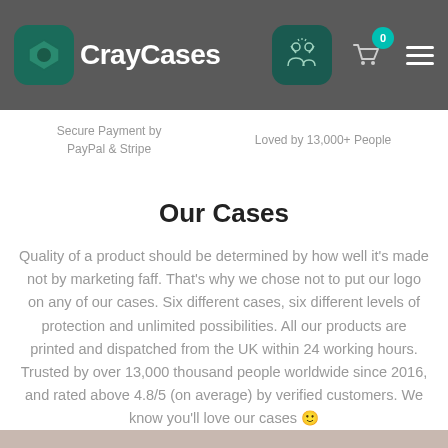CrayCases — Secure Payment by PayPal & Stripe | Loved by 13,000+ People
Our Cases
Quality of a product should be determined by how well it's made not by marketing faff. That's why we chose not to put our logo on any of our cases. Six different cases, six different levels of protection and unlimited possibilities. All our products are printed and dispatched from the UK within 24 working hours. Trusted by over 13,000 thousand people worldwide since 2016, and rated above 4.8/5 (on average) by verified customers. We know you'll love our cases 🙂